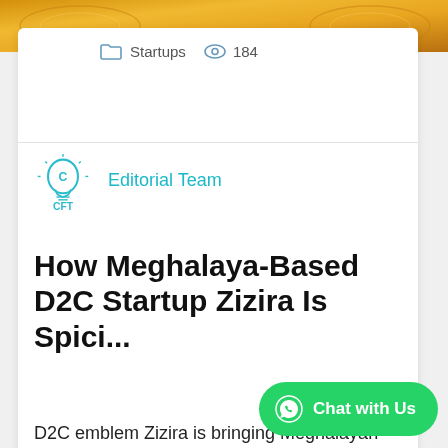[Figure (photo): Golden/yellow decorative image strip at the top of the page]
Startups   184
[Figure (logo): CFT logo - lightbulb with letter C inside, cyan/blue color with CFT text below]
Editorial Team
How Meghalaya-Based D2C Startup Zizira Is Spici...
D2C emblem Zizira is bringing Meghalayan spices and herbs like Lakadong turmeric and valerian tea...
Chat with Us